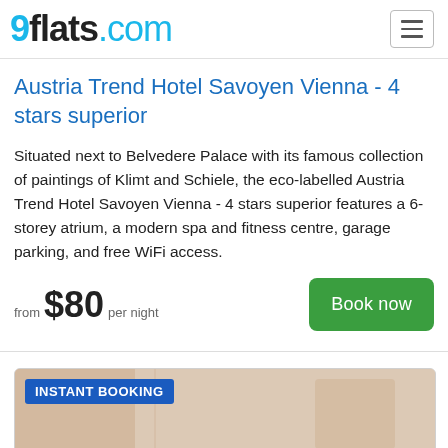9flats.com
Austria Trend Hotel Savoyen Vienna - 4 stars superior
Situated next to Belvedere Palace with its famous collection of paintings of Klimt and Schiele, the eco-labelled Austria Trend Hotel Savoyen Vienna - 4 stars superior features a 6-storey atrium, a modern spa and fitness centre, garage parking, and free WiFi access.
from $80 per night
Book now
[Figure (photo): Hotel room photo with INSTANT BOOKING badge overlay]